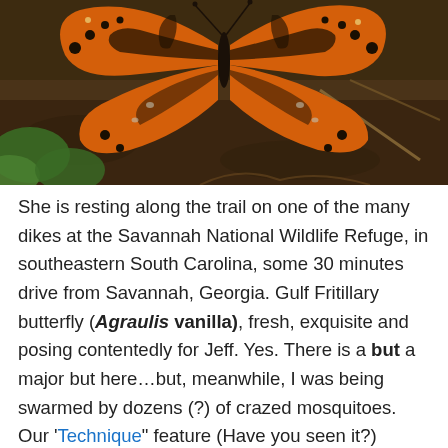[Figure (photo): Close-up photograph of a Gulf Fritillary butterfly (Agraulis vanilla) with orange wings and black spots/markings, resting on dark soil with green leaves visible in the background.]
She is resting along the trail on one of the many dikes at the Savannah National Wildlife Refuge, in southeastern South Carolina, some 30 minutes drive from Savannah, Georgia. Gulf Fritillary butterfly (Agraulis vanilla), fresh, exquisite and posing contentedly for Jeff. Yes. There is a but a major but here…but, meanwhile, I was being swarmed by dozens (?) of crazed mosquitoes. Our 'Technique" feature (Have you seen it?) warns of the need to move robotically, slowly, to insure that the butterfly is not frightened and spooked. Hard to do there and then, with